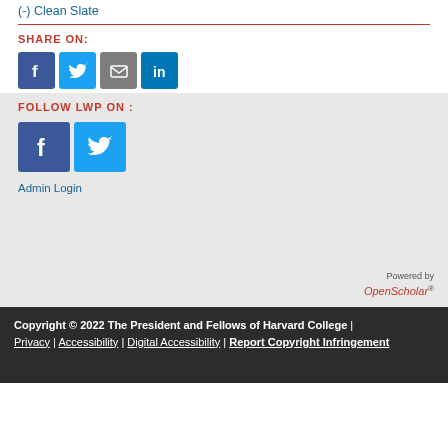(-) Clean Slate
SHARE ON:
[Figure (other): Social share icons: Facebook, Twitter, Email, LinkedIn]
FOLLOW LWP ON :
[Figure (other): Follow icons: Facebook, Twitter]
Admin Login
[Figure (logo): Powered by OpenScholar logo]
Copyright © 2022 The President and Fellows of Harvard College | Privacy | Accessibility | Digital Accessibility | Report Copyright Infringement